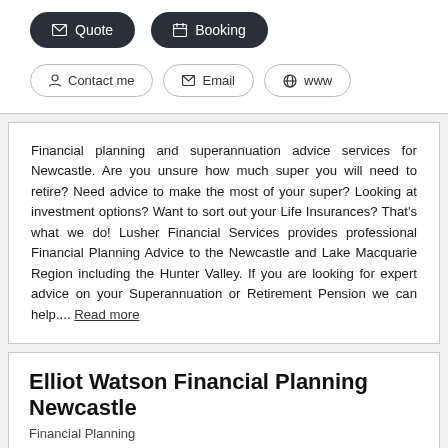[Figure (screenshot): Two dark pill-shaped buttons: Quote (with envelope icon) and Booking (with calendar icon)]
[Figure (screenshot): Three outline pill-shaped buttons: Contact me (with person icon), Email (with envelope icon), www (with globe icon)]
Financial planning and superannuation advice services for Newcastle. Are you unsure how much super you will need to retire? Need advice to make the most of your super? Looking at investment options? Want to sort out your Life Insurances? That's what we do! Lusher Financial Services provides professional Financial Planning Advice to the Newcastle and Lake Macquarie Region including the Hunter Valley. If you are looking for expert advice on your Superannuation or Retirement Pension we can help.... Read more
Elliot Watson Financial Planning Newcastle
Financial Planning
1/19 Kenrick St, The Junction, NSW 2291